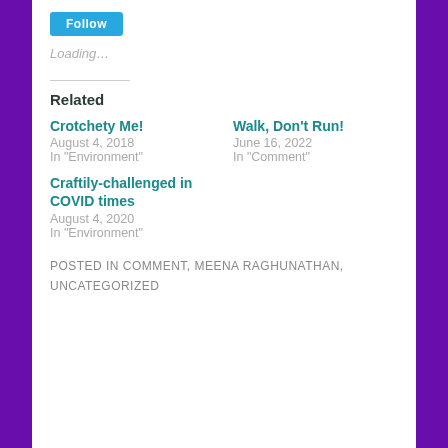[Figure (other): Blue button partially visible at top of page]
Loading...
Related
Crotchety Me!
August 4, 2018
In "Environment"
Walk, Don't Run!
June 16, 2022
In "Comment"
Craftily-challenged in COVID times
August 4, 2020
In "Environment"
POSTED IN COMMENT, MEENA RAGHUNATHAN, UNCATEGORIZED